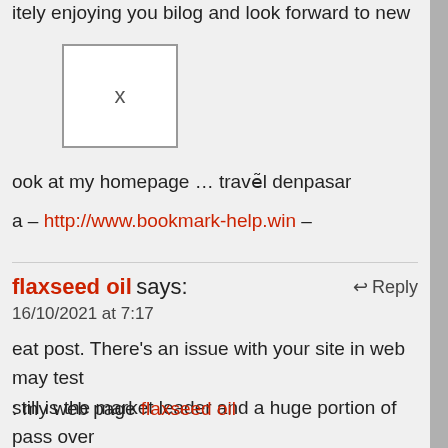itely enjoying you bilog and look forward to new
[Figure (other): Box with X inside, representing a broken or placeholder image]
ook at my homepage … travẽl denpasar
a – http://www.bookmark-help.win –
flaxseed oil says:  16/10/2021 at 7:17  Reply
eat post. There's an issue with your site in web may test still is the market leader and a huge portion of pass over astic writing due to this problem.
: my web page flaxseed oil